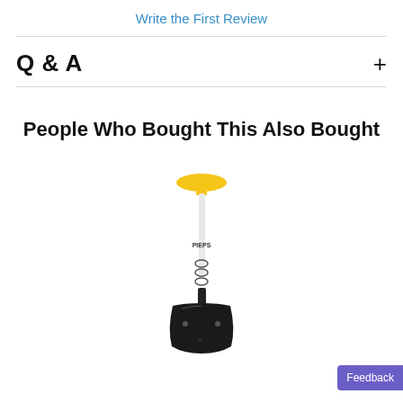Write the First Review
Q & A
People Who Bought This Also Bought
[Figure (photo): A PIEPS avalanche probe/shovel with yellow T-shaped handle top, white shaft labeled PIEPS with D-ring loops, and a black shovel blade at the bottom.]
Feedback